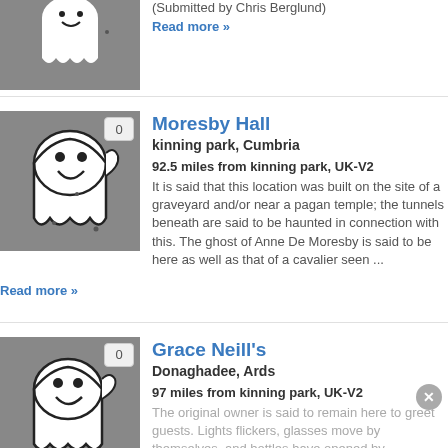[Figure (illustration): Ghost cartoon illustration on grey background, top entry, partially cropped]
(Submitted by Chris Berglund)
Read more »
[Figure (illustration): Ghost cartoon illustration on grey background with badge showing 0]
Moresby Hall
kinning park, Cumbria
92.5 miles from kinning park, UK-V2
It is said that this location was built on the site of a graveyard and/or near a pagan temple; the tunnels beneath are said to be haunted in connection with this. The ghost of Anne De Moresby is said to be here as well as that of a cavalier seen ...
Read more »
[Figure (illustration): Ghost cartoon illustration on grey background with badge showing 0, partially cropped]
Grace Neill's
Donaghadee, Ards
97 miles from kinning park, UK-V2
The original owner is said to remain here to greet guests. Lights flickers, glasses move by themselves, and bottles have opened by...